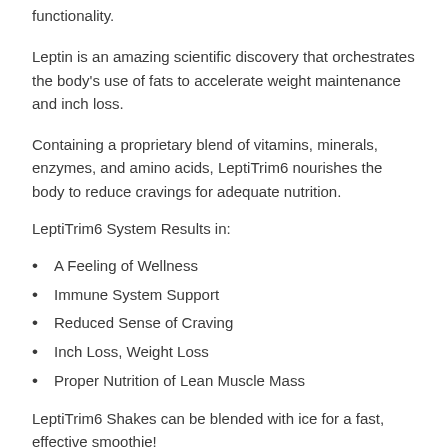functionality.
Leptin is an amazing scientific discovery that orchestrates the body’s use of fats to accelerate weight maintenance and inch loss.
Containing a proprietary blend of vitamins, minerals, enzymes, and amino acids, LeptiTrim6 nourishes the body to reduce cravings for adequate nutrition.
LeptiTrim6 System Results in:
A Feeling of Wellness
Immune System Support
Reduced Sense of Craving
Inch Loss, Weight Loss
Proper Nutrition of Lean Muscle Mass
LeptiTrim6 Shakes can be blended with ice for a fast, effective smoothie!